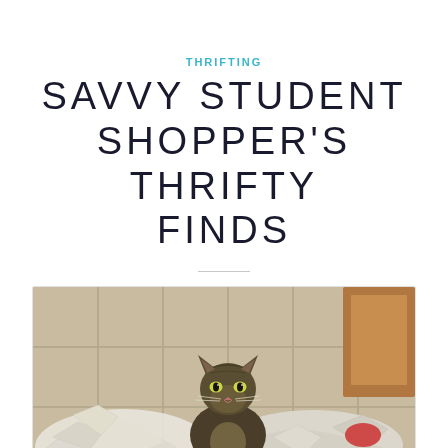THRIFTING
SAVVY STUDENT SHOPPER'S THRIFTY FINDS
[Figure (photo): A tabby cat sitting in the middle of crumpled newspaper/plastic bags on a tiled floor, looking at the camera. A wooden cabinet is visible in the upper right corner.]